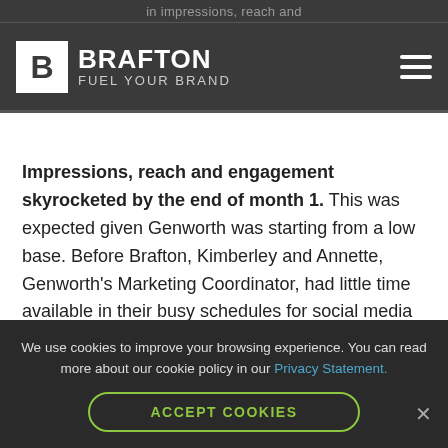in impressions, reach and
[Figure (logo): Brafton logo with white B in box and text BRAFTON FUEL YOUR BRAND on dark background, with hamburger menu icon on right]
Impressions, reach and engagement skyrocketed by the end of month 1. This was expected given Genworth was starting from a low base. Before Brafton, Kimberley and Annette, Genworth's Marketing Coordinator, had little time available in their busy schedules for social media posting. Social posting was
We use cookies to improve your browsing experience. You can read more about our cookie policy in our Privacy Statement.
ACCEPT COOKIES